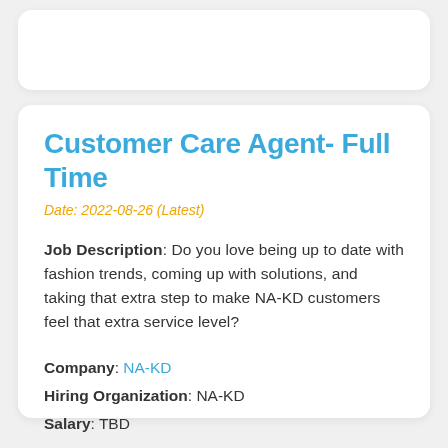Customer Care Agent- Full Time
Date: 2022-08-26 (Latest)
Job Description: Do you love being up to date with fashion trends, coming up with solutions, and taking that extra step to make NA-KD customers feel that extra service level?
Company: NA-KD
Hiring Organization: NA-KD
Salary: TBD